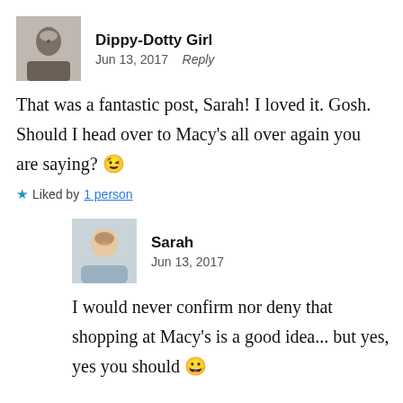Dippy-Dotty Girl
Jun 13, 2017   Reply
That was a fantastic post, Sarah! I loved it. Gosh. Should I head over to Macy's all over again you are saying? 😉
★ Liked by 1 person
Sarah
Jun 13, 2017
I would never confirm nor deny that shopping at Macy's is a good idea... but yes, yes you should 😀